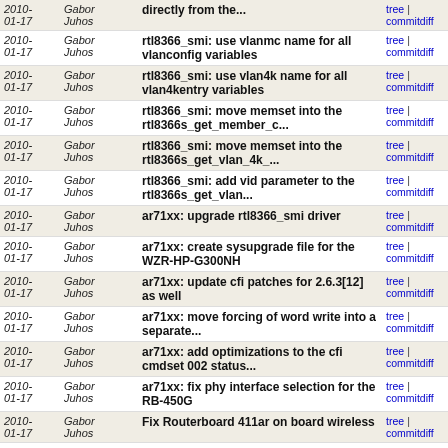| Date | Author | Message | Links |
| --- | --- | --- | --- |
| 2010-01-17 | Gabor Juhos | directly from the... | tree | commitdiff |
| 2010-01-17 | Gabor Juhos | rtl8366_smi: use vlanmc name for all vlanconfig variables | tree | commitdiff |
| 2010-01-17 | Gabor Juhos | rtl8366_smi: use vlan4k name for all vlan4kentry variables | tree | commitdiff |
| 2010-01-17 | Gabor Juhos | rtl8366_smi: move memset into the rtl8366s_get_member_c... | tree | commitdiff |
| 2010-01-17 | Gabor Juhos | rtl8366_smi: move memset into the rtl8366s_get_vlan_4k_... | tree | commitdiff |
| 2010-01-17 | Gabor Juhos | rtl8366_smi: add vid parameter to the rtl8366s_get_vlan... | tree | commitdiff |
| 2010-01-17 | Gabor Juhos | ar71xx: upgrade rtl8366_smi driver | tree | commitdiff |
| 2010-01-17 | Gabor Juhos | ar71xx: create sysupgrade file for the WZR-HP-G300NH | tree | commitdiff |
| 2010-01-17 | Gabor Juhos | ar71xx: update cfi patches for 2.6.3[12] as well | tree | commitdiff |
| 2010-01-17 | Gabor Juhos | ar71xx: move forcing of word write into a separate... | tree | commitdiff |
| 2010-01-17 | Gabor Juhos | ar71xx: add optimizations to the cfi cmdset 002 status... | tree | commitdiff |
| 2010-01-17 | Gabor Juhos | ar71xx: fix phy interface selection for the RB-450G | tree | commitdiff |
| 2010-01-17 | Gabor Juhos | Fix Routerboard 411ar on board wireless | tree | commitdiff |
| 2010-01-17 | Jo-Philipp Wich | [PATCH] missing prerequisite for Orion images | tree | commitdiff |